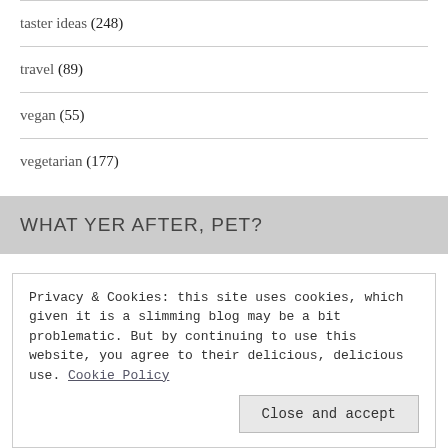taster ideas (248)
travel (89)
vegan (55)
vegetarian (177)
WHAT YER AFTER, PET?
Privacy & Cookies: this site uses cookies, which given it is a slimming blog may be a bit problematic. But by continuing to use this website, you agree to their delicious, delicious use. Cookie Policy
Close and accept